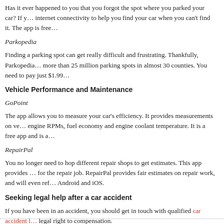Has it ever happened to you that you forgot the spot where you parked your car? If y… internet connectivity to help you find your car when you can't find it. The app is free…
Parkopedia
Finding a parking spot can get really difficult and frustrating. Thankfully, Parkopedia… more than 25 million parking spots in almost 30 counties. You need to pay just $1.99…
Vehicle Performance and Maintenance
GoPoint
The app allows you to measure your car's efficiency. It provides measurements on ve… engine RPMs, fuel economy and engine coolant temperature. It is a free app and is a…
RepairPal
You no longer need to hop different repair shops to get estimates. This app provides … for the repair job. RepairPal provides fair estimates on repair work, and will even ref… Android and iOS.
Seeking legal help after a car accident
If you have been in an accident, you should get in touch with qualified car accident l… legal right to compensation.